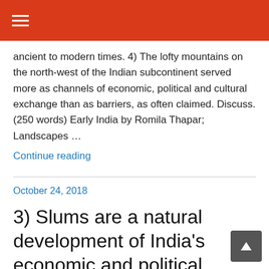≡
ancient to modern times. 4) The lofty mountains on the north-west of the Indian subcontinent served more as channels of economic, political and cultural exchange than as barriers, as often claimed. Discuss. (250 words) Early India by Romila Thapar; Landscapes ...
Continue reading
October 24, 2018
3) Slums are a natural development of India's economic and political structure. Do you